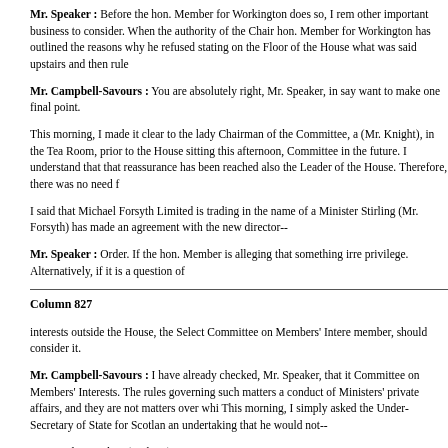Mr. Speaker : Before the hon. Member for Workington does so, I rem other important business to consider. When the authority of the Chair hon. Member for Workington has outlined the reasons why he refused stating on the Floor of the House what was said upstairs and then rule
Mr. Campbell-Savours : You are absolutely right, Mr. Speaker, in say want to make one final point.
This morning, I made it clear to the lady Chairman of the Committee, a (Mr. Knight), in the Tea Room, prior to the House sitting this afternoon, Committee in the future. I understand that that reassurance has been reached also the Leader of the House. Therefore, there was no need f
I said that Michael Forsyth Limited is trading in the name of a Minister Stirling (Mr. Forsyth) has made an agreement with the new director--
Mr. Speaker : Order. If the hon. Member is alleging that something irre privilege. Alternatively, if it is a question of
Column 827
interests outside the House, the Select Committee on Members' Intere member, should consider it.
Mr. Campbell-Savours : I have already checked, Mr. Speaker, that it Committee on Members' Interests. The rules governing such matters a conduct of Ministers' private affairs, and they are not matters over whi This morning, I simply asked the Under-Secretary of State for Scotlan an undertaking that he would not--
Mr. Cranley Onslow (Woking) rose--